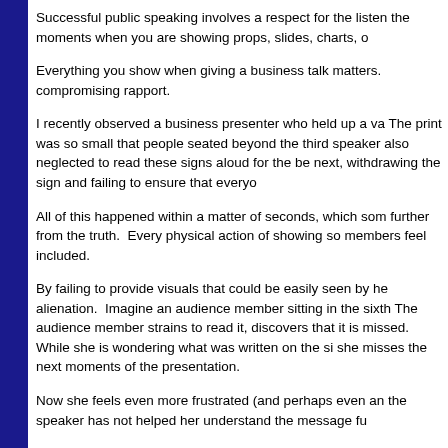Successful public speaking involves a respect for the listen the moments when you are showing props, slides, charts, o
Everything you show when giving a business talk matters. compromising rapport.
I recently observed a business presenter who held up a va The print was so small that people seated beyond the third speaker also neglected to read these signs aloud for the be next, withdrawing the sign and failing to ensure that everyo
All of this happened within a matter of seconds, which som further from the truth.  Every physical action of showing so members feel included.
By failing to provide visuals that could be easily seen by he alienation.  Imagine an audience member sitting in the sixth The audience member strains to read it, discovers that it is missed.  While she is wondering what was written on the si she misses the next moments of the presentation.
Now she feels even more frustrated (and perhaps even an the speaker has not helped her understand the message fu